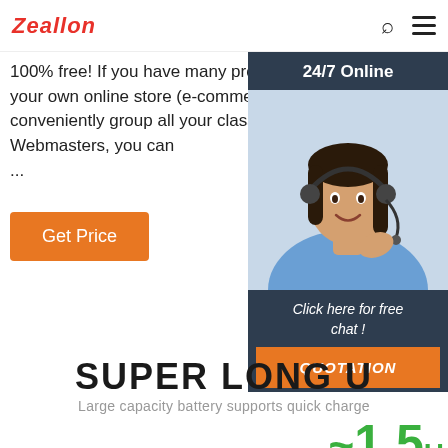Zeallon
100% free! If you have many products or ads, create your own online store (e-commerce shop) and conveniently group all your classified ads in your shop! Webmasters, you can ...
Get Price
[Figure (photo): Chat widget with '24/7 Online' header, photo of smiling woman with headset, 'Click here for free chat!' text, and orange QUOTATION button on dark navy background]
SUPER LONG U...
Large capacity battery supports quick charge
[Figure (photo): Neckband earphones/headphones product photo in gray/silver color]
~1.5H